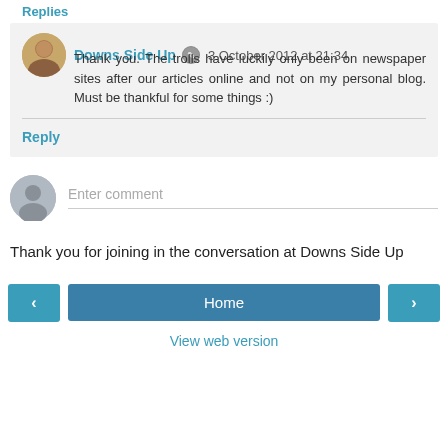Replies
Downs Side Up  3 October 2012 at 21:34
Thank you. The trolls have luckily only been on newspaper sites after our articles online and not on my personal blog. Must be thankful for some things :)
Reply
Enter comment
Thank you for joining in the conversation at Downs Side Up
< Home >
View web version